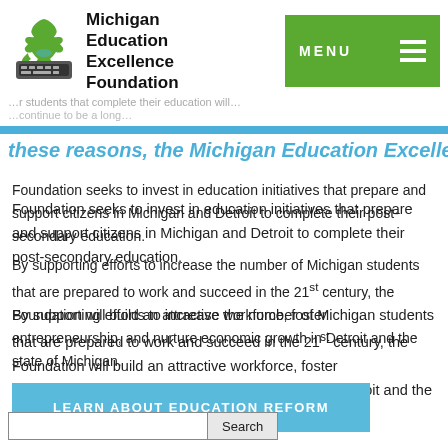Michigan Education Excellence Foundation — MENU header with logo
these reasons, the Michigan Education Excellence Foundation seeks to invest in education initiatives that prepare and support citizens in Michigan and Detroit to complete their post-secondary education.
By supporting efforts to increase the number of Michigan students that are prepared to work and succeed in the 21st century, the Foundation will build an attractive workforce, foster entrepreneurship, and nurture economic growth in Detroit and the state of Michigan.
LEARN ABOUT EDUCATION REFORM